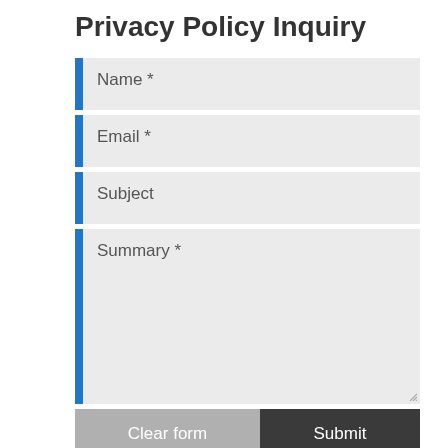Privacy Policy Inquiry
Name *
Email *
Subject
Summary *
Clear form
Submit